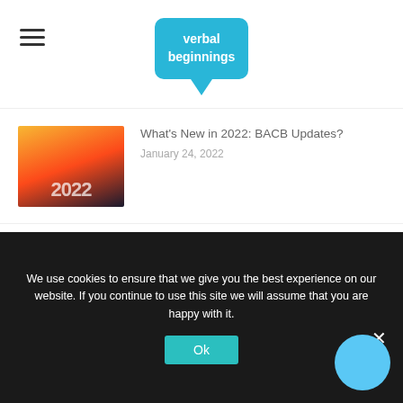verbal beginnings (logo)
What's New in 2022: BACB Updates?
January 24, 2022
[Figure (photo): Road with '2022' painted on it under sunset sky]
Learning To Exhale: Behind the Scenes of VB’s Wellness Retreat
January 12, 2022
[Figure (photo): Group of people in matching light blue sweatshirts outdoors on grass]
Supervising and Thriving: Meet Alexis Law, M.S., BCBA, LBA Clinical Coordinator
[Figure (photo): Blonde woman portrait]
We use cookies to ensure that we give you the best experience on our website. If you continue to use this site we will assume that you are happy with it.